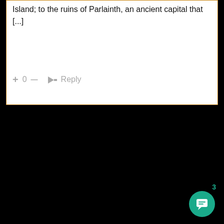Island; to the ruins of Parlainth, an ancient capital that [...]
+ 0 — → Reply
HOME
[Figure (screenshot): Chat button with badge showing number 3]